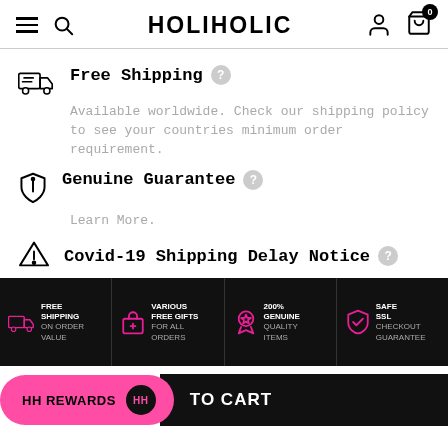HOLIHOLIC
Free Shipping
Available worldwide. Check our shipping policy to see your countries minimum order requirement.
Genuine Guarantee
Learn More.
Covid-19 Shipping Delay Notice
[Figure (infographic): Four black banner tiles: FREE SHIPPING ON ORDER VALUE (pink truck icon), VARIOUS FREE GIFTS FOR ALL ORDERS (pink gift icon), 200% GENUINE QUALITY ITEMS (pink medal icon), SAFE SSL CHECKOUT GUARANTEE (pink shield/check icon)]
[Figure (screenshot): CTA bar: pink HH REWARDS button on left, black TO CART text on right]